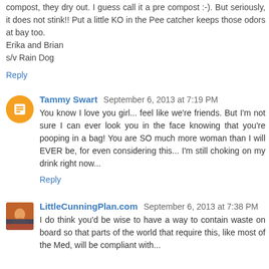compost, they dry out. I guess call it a pre compost :-). But seriously, it does not stink!! Put a little KO in the Pee catcher keeps those odors at bay too.
Erika and Brian
s/v Rain Dog
Reply
Tammy Swart  September 6, 2013 at 7:19 PM
You know I love you girl... feel like we're friends. But I'm not sure I can ever look you in the face knowing that you're pooping in a bag! You are SO much more woman than I will EVER be, for even considering this... I'm still choking on my drink right now...
Reply
LittleCunningPlan.com  September 6, 2013 at 7:38 PM
I do think you'd be wise to have a way to contain waste on board so that parts of the world that require this, like most of the Med, will be compliant with...